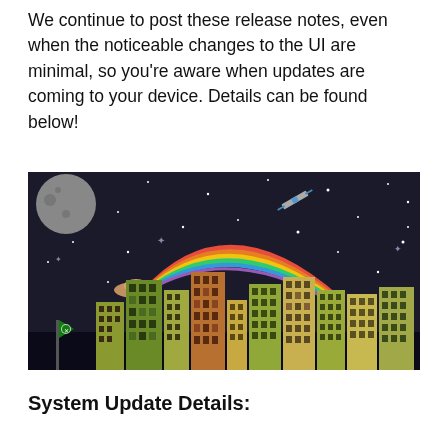We continue to post these release notes, even when the noticeable changes to the UI are minimal, so you're aware when updates are coming to your device. Details can be found below!
[Figure (illustration): An illustrated night-sky cityscape with a dark background filled with stars. A grey moon is in the upper left corner. A satellite flies in the upper right area. A flying saucer emits a rainbow that arcs down into a colorful city skyline of illustrated buildings in yellow, green, and brown tones. An Xbox green flag is planted on the left side of the city.]
System Update Details: